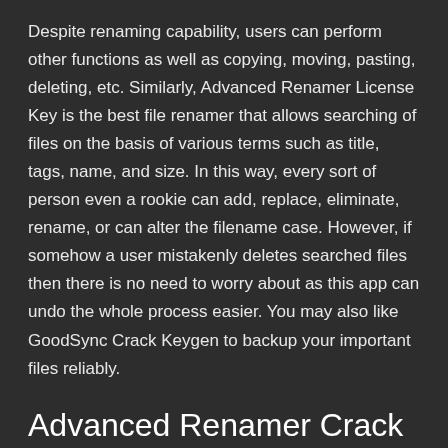Despite renaming capability, users can perform other functions as well as copying, moving, pasting, deleting, etc. Similarly, Advanced Renamer License Key is the best file renamer that allows searching of files on the basis of various terms such as title, tags, name, and size. In this way, every sort of person even a rookie can add, replace, eliminate, rename, or can alter the filename case. However, if somehow a user mistakenly deletes searched files then there is no need to worry about as this app can undo the whole process easier. You may also like GoodSync Crack Keygen to backup your important files reliably.
Advanced Renamer Crack Download Full Keygen Latest Version